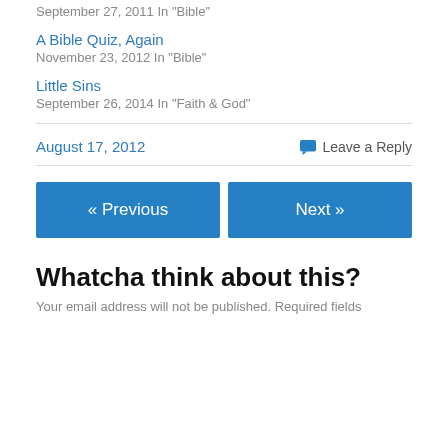September 27, 2011
In "Bible"
A Bible Quiz, Again
November 23, 2012
In "Bible"
Little Sins
September 26, 2014
In "Faith & God"
August 17, 2012
Leave a Reply
« Previous
Next »
Whatcha think about this?
Your email address will not be published. Required fields